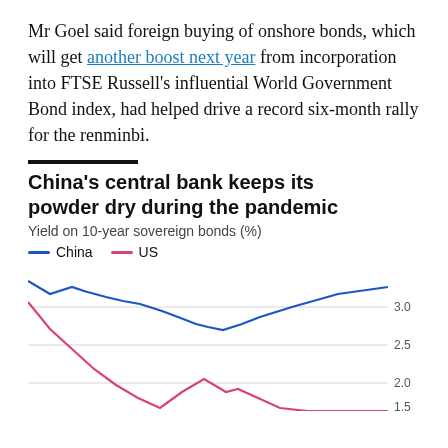Mr Goel said foreign buying of onshore bonds, which will get another boost next year from incorporation into FTSE Russell's influential World Government Bond index, had helped drive a record six-month rally for the renminbi.
China's central bank keeps its powder dry during the pandemic
Yield on 10-year sovereign bonds (%)
[Figure (line-chart): China's central bank keeps its powder dry during the pandemic]